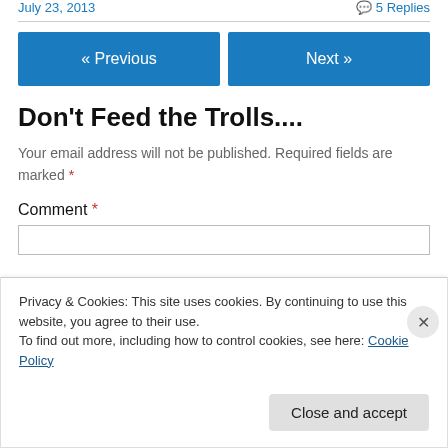July 23, 2013   5 Replies
« Previous   Next »
Don't Feed the Trolls....
Your email address will not be published. Required fields are marked *
Comment *
Privacy & Cookies: This site uses cookies. By continuing to use this website, you agree to their use. To find out more, including how to control cookies, see here: Cookie Policy
Close and accept